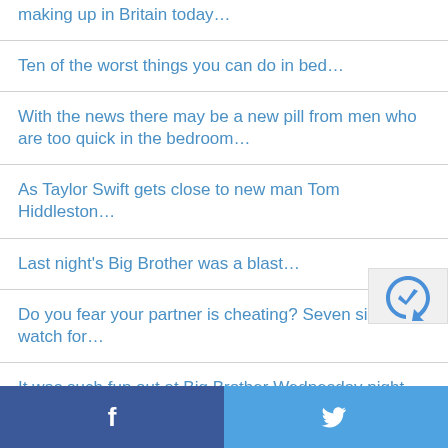making up in Britain today…
Ten of the worst things you can do in bed…
With the news there may be a new pill from men who are too quick in the bedroom…
As Taylor Swift gets close to new man Tom Hiddleston…
Last night's Big Brother was a blast…
Do you fear your partner is cheating? Seven signs to watch for…
It was such fun out at Big Brother Wednesday night
f  🐦